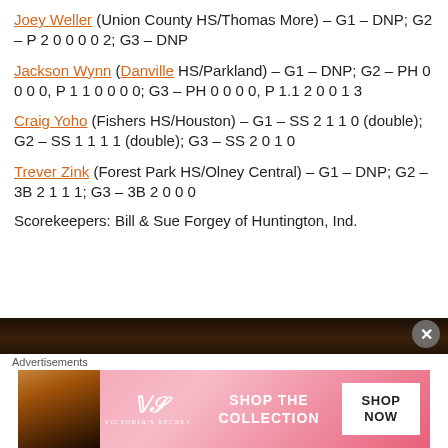Joey Weller (Union County HS/Thomas More) – G1 – DNP; G2 – P 2 0 0 0 0 2; G3 – DNP
Jackson Wynn (Danville HS/Parkland) – G1 – DNP; G2 – PH 0 0 0 0, P 1 1 0 0 0 0; G3 – PH 0 0 0 0, P 1.1 2 0 0 1 3
Craig Yoho (Fishers HS/Houston) – G1 – SS 2 1 1 0 (double); G2 – SS 1 1 1 1 (double); G3 – SS 2 0 1 0
Trever Zink (Forest Park HS/Olney Central) – G1 – DNP; G2 – 3B 2 1 1 1; G3 – 3B 2 0 0 0
Scorekeepers: Bill & Sue Forgey of Huntington, Ind.
[Figure (photo): Dark background partial image, likely a sports or event photo]